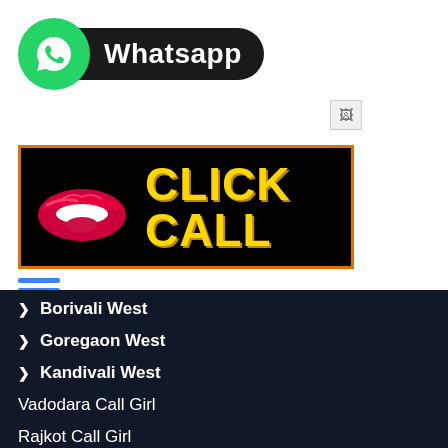[Figure (logo): WhatsApp logo badge with green circle icon and black rounded label reading 'Whatsapp']
[Figure (other): Broken image placeholder icon]
[Figure (other): Black banner with orange border, red lips illustration on left and bold yellow text 'CLICK CALL' on right]
[Figure (other): Blue hamburger menu icon with three horizontal lines]
Borivali West
Goregaon West
Kandivali West
Vadodara Call Girl
Rajkot Call Girl
Anand Call Girl